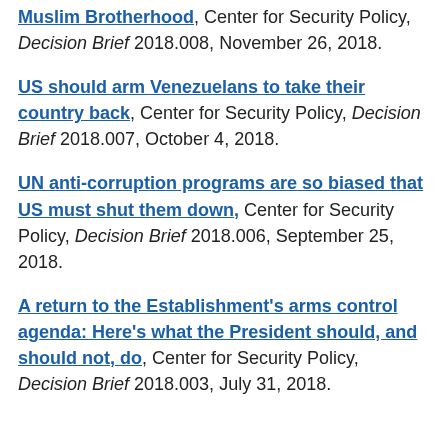Muslim Brotherhood, Center for Security Policy, Decision Brief 2018.008, November 26, 2018.
US should arm Venezuelans to take their country back, Center for Security Policy, Decision Brief 2018.007, October 4, 2018.
UN anti-corruption programs are so biased that US must shut them down, Center for Security Policy, Decision Brief 2018.006, September 25, 2018.
A return to the Establishment's arms control agenda: Here's what the President should, and should not, do, Center for Security Policy, Decision Brief 2018.003, July 31, 2018.